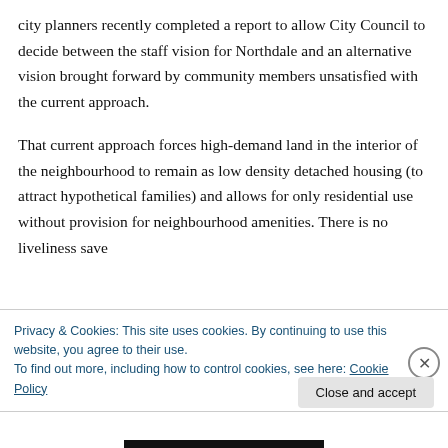city planners recently completed a report to allow City Council to decide between the staff vision for Northdale and an alternative vision brought forward by community members unsatisfied with the current approach.

That current approach forces high-demand land in the interior of the neighbourhood to remain as low density detached housing (to attract hypothetical families) and allows for only residential use without provision for neighbourhood amenities. There is no liveliness save
Privacy & Cookies: This site uses cookies. By continuing to use this website, you agree to their use.
To find out more, including how to control cookies, see here: Cookie Policy